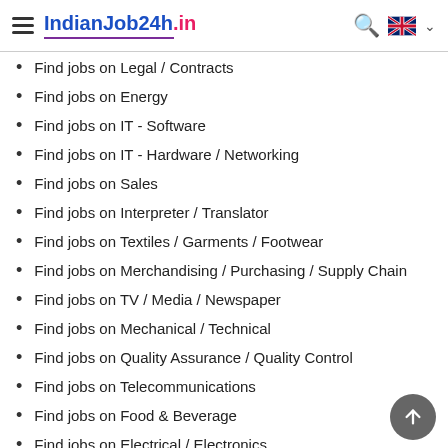IndianJob24h.in
Find jobs on Legal / Contracts
Find jobs on Energy
Find jobs on IT - Software
Find jobs on IT - Hardware / Networking
Find jobs on Sales
Find jobs on Interpreter / Translator
Find jobs on Textiles / Garments / Footwear
Find jobs on Merchandising / Purchasing / Supply Chain
Find jobs on TV / Media / Newspaper
Find jobs on Mechanical / Technical
Find jobs on Quality Assurance / Quality Control
Find jobs on Telecommunications
Find jobs on Food & Beverage
Find jobs on Electrical / Electronics
Find jobs on Finance / Bank / Stock